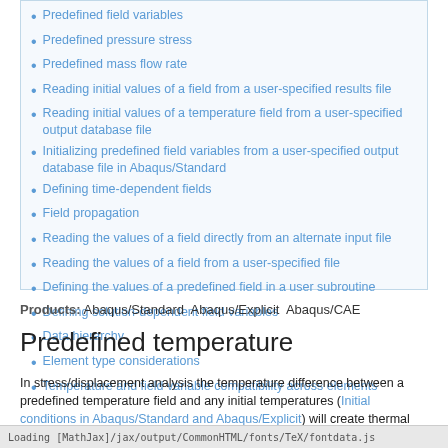Predefined field variables
Predefined pressure stress
Predefined mass flow rate
Reading initial values of a field from a user-specified results file
Reading initial values of a temperature field from a user-specified output database file
Initializing predefined field variables from a user-specified output database file in Abaqus/Standard
Defining time-dependent fields
Field propagation
Reading the values of a field directly from an alternate input file
Reading the values of a field from a user-specified file
Defining the values of a predefined field in a user subroutine
Defining solution-dependent field variables
Data hierarchy
Element type considerations
Temperature and field variable compatibility across elements
Products: Abaqus/Standard Abaqus/Explicit Abaqus/CAE
Predefined temperature
In stress/displacement analysis the temperature difference between a predefined temperature field and any initial temperatures (Initial conditions in Abaqus/Standard and Abaqus/Explicit) will create thermal strains if a thermal expansion coefficient is defined. A predefined temperature field also affects material properties that depend on temperature. In Abaqus/Explicit